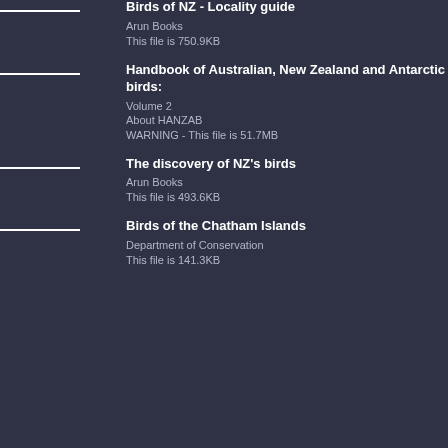Birds of NZ - Locality guide
Arun Books
This file is 750.9KB
Handbook of Australian, New Zealand and Antarctic birds: Volume 2
About HANZAB
WARNING - This file is 51.7MB
The discovery of NZ's birds
Arun Books
This file is 493.6KB
Birds of the Chatham Islands
Department of Conservation
This file is 141.3KB